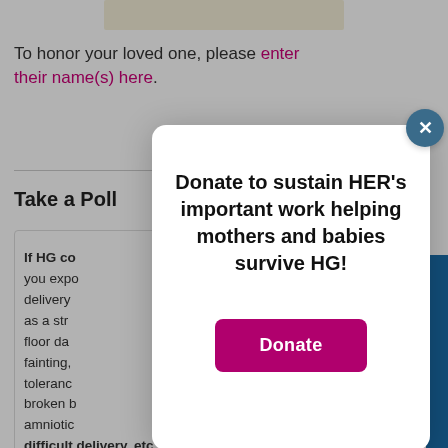[Figure (illustration): Beige/cream colored image at top center of page, partially visible]
To honor your loved one, please enter their name(s) here.
Take a Poll
If HG co... you expo... delivery... as a str... floor da... fainting,... toleranc... broken b... amniotic... difficult delivery, etc.?
Donate to sustain HER's important work helping mothers and babies survive HG!
Donate